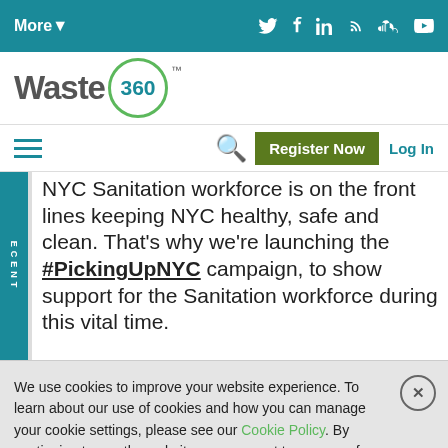More | Waste360 - social icons: Twitter, Facebook, LinkedIn, RSS, SoundCloud, YouTube
[Figure (logo): Waste360 logo with circular green border around '360' text]
Hamburger menu | Search icon | Register Now | Log In
NYC Sanitation workforce is on the front lines keeping NYC healthy, safe and clean. That's why we're launching the #PickingUpNYC campaign, to show support for the Sanitation workforce during this vital time.
We use cookies to improve your website experience. To learn about our use of cookies and how you can manage your cookie settings, please see our Cookie Policy. By continuing to use the website, you consent to our use of cookies.